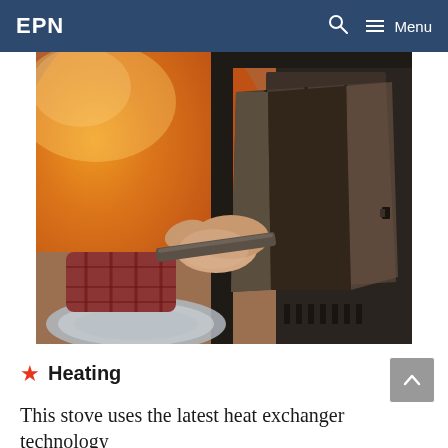EPN | Menu
[Figure (photo): A person's hand holding a metal tool or handle, inserting or adjusting a heat exchanger component inside a dark stove or furnace. The stove interior is visible with warm orange glow in the background, and a circular rug is partially visible on the floor.]
★ Heating
This stove uses the latest heat exchanger technology